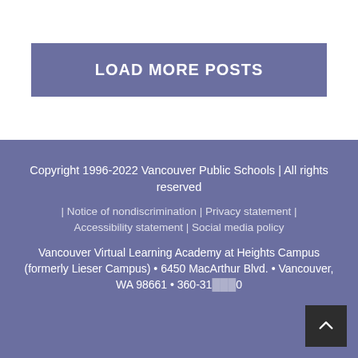LOAD MORE POSTS
Copyright 1996-2022 Vancouver Public Schools | All rights reserved | Notice of nondiscrimination | Privacy statement | Accessibility statement | Social media policy
Vancouver Virtual Learning Academy at Heights Campus (formerly Lieser Campus) • 6450 MacArthur Blvd. • Vancouver, WA 98661 • 360-31...0